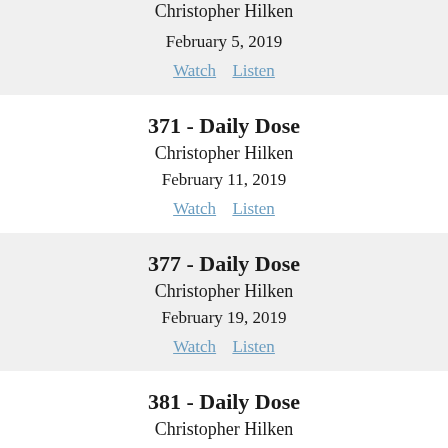Christopher Hilken
February 5, 2019
Watch  Listen
371 - Daily Dose
Christopher Hilken
February 11, 2019
Watch  Listen
377 - Daily Dose
Christopher Hilken
February 19, 2019
Watch  Listen
381 - Daily Dose
Christopher Hilken
February 25, 2019
Watch  Listen
384 - Daily Dose
Christopher Hilken
February 28, 2019